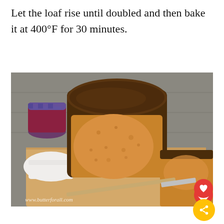Let the loaf rise until doubled and then bake it at 400°F for 30 minutes.
[Figure (photo): A sliced loaf of bread on a wooden cutting board with a jar of jam, a butter dish, and a knife. The bread has a dark crust and golden interior crumb. Watermark: www.butterforall.com]